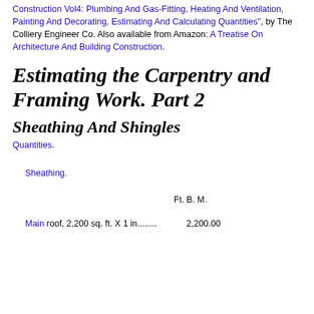Construction Vol4: Plumbing And Gas-Fitting, Heating And Ventilation, Painting And Decorating, Estimating And Calculating Quantities", by The Colliery Engineer Co. Also available from Amazon: A Treatise On Architecture And Building Construction.
Estimating the Carpentry and Framing Work. Part 2
Sheathing And Shingles
Quantities.
Sheathing.
Ft. B. M.
Main roof, 2,200 sq. ft. X 1 in........ 2,200.00